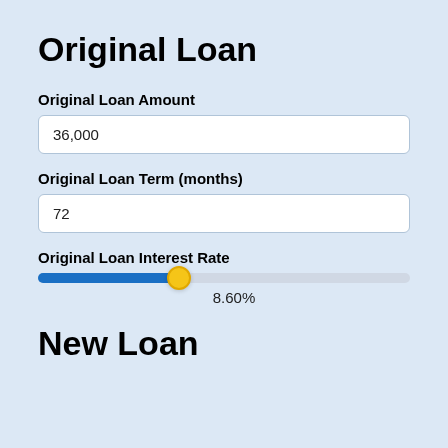Original Loan
Original Loan Amount
36,000
Original Loan Term (months)
72
Original Loan Interest Rate
[Figure (other): Horizontal slider showing interest rate set to 8.60%, with blue filled track on left and gray track on right, yellow circular thumb at approximately 38% position]
8.60%
New Loan